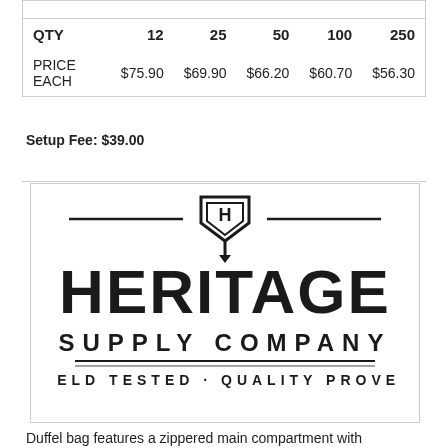| QTY | 12 | 25 | 50 | 100 | 250 |
| --- | --- | --- | --- | --- | --- |
| PRICE EACH | $75.90 | $69.90 | $66.20 | $60.70 | $56.30 |
Setup Fee: $39.00
[Figure (logo): Heritage Supply Company logo — shield with H emblem above large bold text HERITAGE, then SUPPLY COMPANY, then FIELD TESTED · QUALITY PROVEN]
Duffel bag features a zippered main compartment with